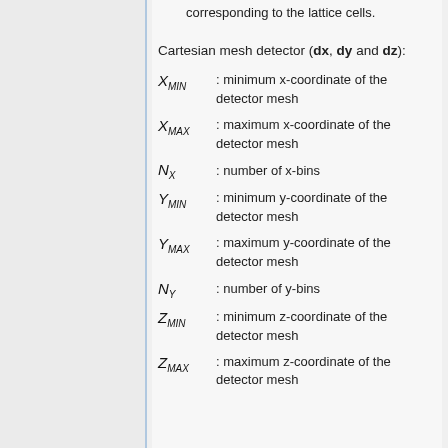divides the results into multiple bins corresponding to the lattice cells.
Cartesian mesh detector (dx, dy and dz):
X_MIN : minimum x-coordinate of the detector mesh
X_MAX : maximum x-coordinate of the detector mesh
N_X : number of x-bins
Y_MIN : minimum y-coordinate of the detector mesh
Y_MAX : maximum y-coordinate of the detector mesh
N_Y : number of y-bins
Z_MIN : minimum z-coordinate of the detector mesh
Z_MAX : maximum z-coordinate of the detector mesh